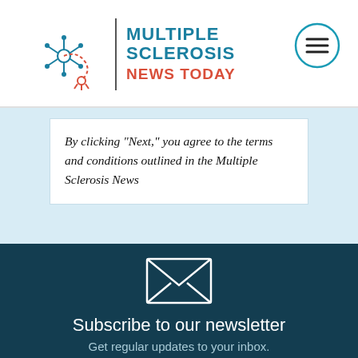[Figure (logo): Multiple Sclerosis News Today logo with stylized MS cell icon, vertical divider, and site name in teal and red]
[Figure (other): Hamburger menu button (three horizontal lines) inside a teal circle outline]
By clicking "Next," you agree to the terms and conditions outlined in the Multiple Sclerosis News
[Figure (illustration): Envelope/mail icon drawn in white outline on dark teal background]
Subscribe to our newsletter
Get regular updates to your inbox.